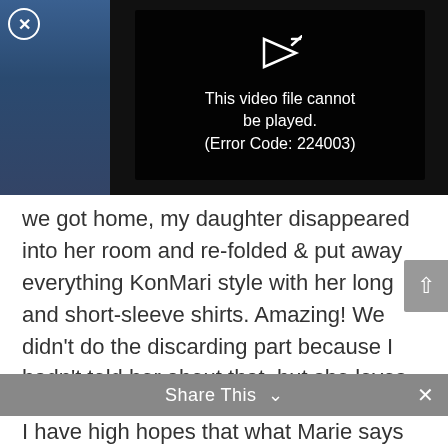[Figure (screenshot): Video player showing error message: 'This video file cannot be played. (Error Code: 224003)' overlaid on a video thumbnail of a crowd and sea scene. A close (X) button is in the top-left corner.]
we got home, my daughter disappeared into her room and re-folded & put away everything KonMari style with her long and short-sleeve shirts. Amazing! We didn't do the discarding part because I hadn't told her about that, but she loves the new folding so much. The other children have admired her drawers as well.
Share This
I have high hopes that what Marie says